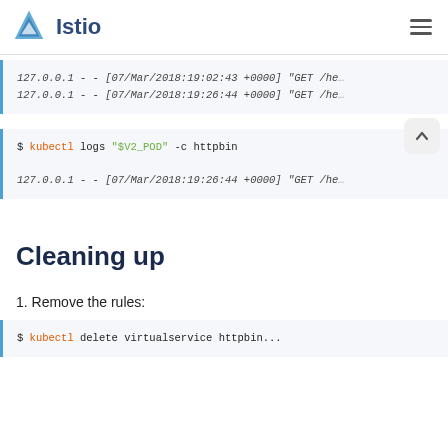Istio
127.0.0.1 - - [07/Mar/2018:19:02:43 +0000] "GET /he...
127.0.0.1 - - [07/Mar/2018:19:26:44 +0000] "GET /he...
$ kubectl logs "$V2_POD" -c httpbin

127.0.0.1 - - [07/Mar/2018:19:26:44 +0000] "GET /he...
Cleaning up
1. Remove the rules:
$ kubectl delete virtualservice httpbin...